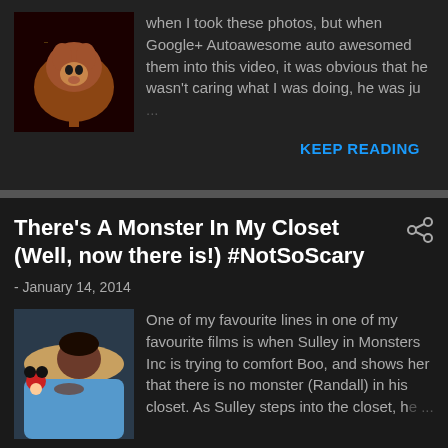when I took these photos, but when Google+ Autoawesome auto awesomed them into this video, it was obvious that he wasn't caring what I was doing, he was ju…
KEEP READING
There's A Monster In My Closet (Well, now there is!) #NotSoScary
- January 14, 2014
[Figure (photo): Child sleeping in bed with Mickey Mouse toy]
One of my favourite lines in one of my favourite films is when Sulley in Monsters Inc is trying to comfort Boo, and shows her that there is no monster (Randall) in his closet. As Sulley steps into the closet, he…
KEEP READING